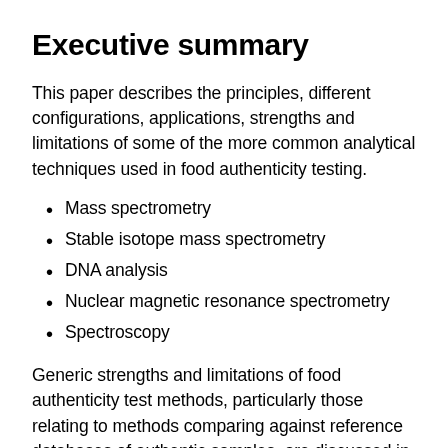Executive summary
This paper describes the principles, different configurations, applications, strengths and limitations of some of the more common analytical techniques used in food authenticity testing.
Mass spectrometry
Stable isotope mass spectrometry
DNA analysis
Nuclear magnetic resonance spectrometry
Spectroscopy
Generic strengths and limitations of food authenticity test methods, particularly those relating to methods comparing against reference databases of authentic samples, are discussed in “Food authenticity testing: The role of analysis”. It also